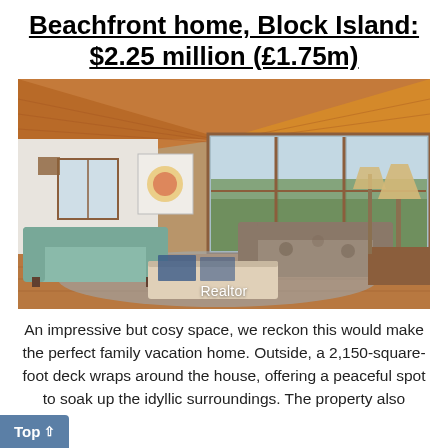Beachfront home, Block Island: $2.25 million (£1.75m)
[Figure (photo): Interior photo of a bright living room with wood-paneled ceiling, large windows with views of greenery, a light teal sofa, a floral sofa, hardwood floors, and a coffee table. 'Realtor' watermark at bottom center.]
An impressive but cosy space, we reckon this would make the perfect family vacation home. Outside, a 2,150-square-foot deck wraps around the house, offering a peaceful spot to soak up the idyllic surroundings. The property also